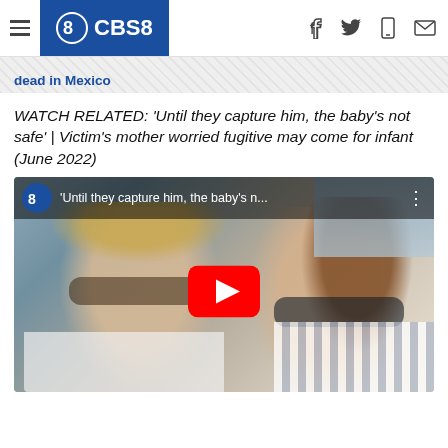CBS8
dead in Mexico
WATCH RELATED: 'Until they capture him, the baby's not safe' | Victim's mother worried fugitive may come for infant (June 2022)
[Figure (screenshot): YouTube video thumbnail showing a man and woman in sunglasses taking a selfie outdoors near a pool. Video title overlay reads: 'Until they capture him, the baby's n...' with CBS8 logo.]